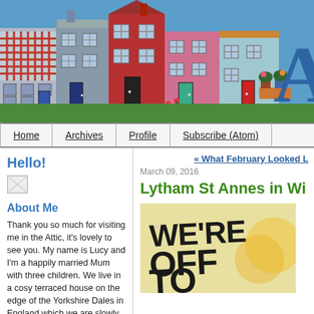[Figure (illustration): Blog header banner showing colorful illustrated terraced houses in blue, grey, red, pink, teal against a sky blue background. A large blue letter 'A' is visible on the right side.]
Home | Archives | Profile | Subscribe (Atom)
Hello!
[Figure (photo): Small broken image placeholder icon]
About Me
Thank you so much for visiting me in the Attic, it's lovely to see you. My name is Lucy and I'm a happily married Mum with three children. We live in a cosy terraced house on the edge of the Yorkshire Dales in England which we are slowly renovating and making home. I have a passion for crochet and colour and love to share my creative journey. I hope you enjoy your
« What February Looked L
March 09, 2016
Lytham St Annes in Wi
[Figure (illustration): Vintage-style poster with cream/yellow background showing bold black text reading 'WE'RE OFF TO' in large distressed letters]